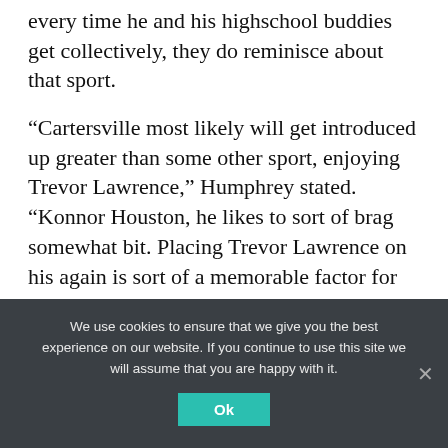every time he and his highschool buddies get collectively, they do reminisce about that sport.
“Cartersville most likely will get introduced up greater than some other sport, enjoying Trevor Lawrence,” Humphrey stated. “Konnor Houston, he likes to sort of brag somewhat bit. Placing Trevor Lawrence on his again is sort of a memorable factor for him.
“It wasn’t a deal with he made or an interception, it was, ‘Oh, I hit Trevor Lawrence.’”
We use cookies to ensure that we give you the best experience on our website. If you continue to use this site we will assume that you are happy with it. Ok